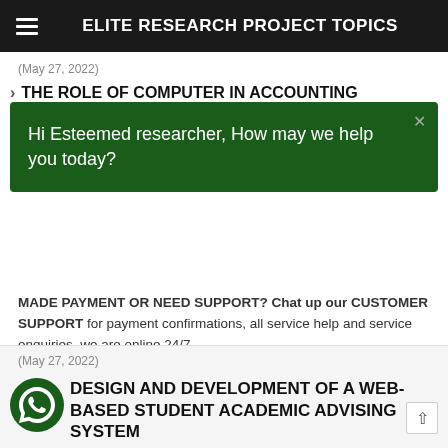ELITE RESEARCH PROJECT TOPICS
(May 27, 2022)
THE ROLE OF COMPUTER IN ACCOUNTING
Hi Esteemed researcher, How may we help you today?
MADE PAYMENT OR NEED SUPPORT? Chat up our CUSTOMER SUPPORT for payment confirmations, all service help and service enquiries, we are online 24/7.
[Figure (illustration): WhatsApp green phone icon]
Elite project customer care
Miracle
(May 27, 2022)
DESIGN AND DEVELOPMENT OF A WEB-BASED STUDENT ACADEMIC ADVISING SYSTEM
[Figure (illustration): WhatsApp floating button icon]